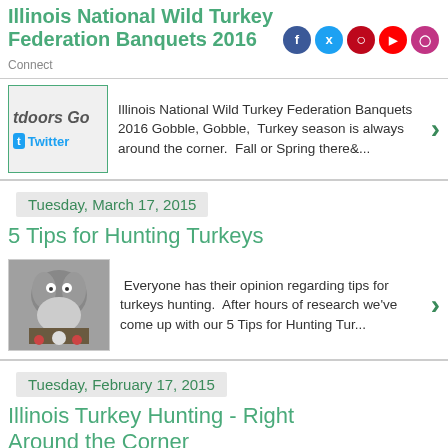Illinois National Wild Turkey Federation Banquets 2016 Connect
[Figure (screenshot): Outdoors Go website thumbnail with Twitter icon]
Illinois National Wild Turkey Federation Banquets 2016 Gobble, Gobble,  Turkey season is always around the corner.  Fall or Spring there&...
Tuesday, March 17, 2015
5 Tips for Hunting Turkeys
[Figure (photo): Turkey hunting equipment photo]
Everyone has their opinion regarding tips for turkeys hunting.  After hours of research we've come up with our 5 Tips for Hunting Tur...
Tuesday, February 17, 2015
Illinois Turkey Hunting - Right Around the Corner
[Figure (photo): Turkey hunting equipment photo]
Some of our Turkey Equipment Illinois Turkey Hunting - Right Around the Corner Gobble, Gobble. That's right spring is right aro...